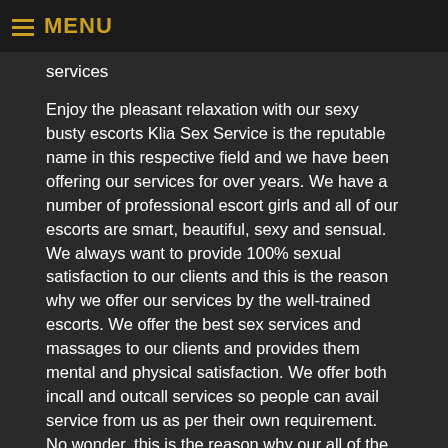MENU
services
Enjoy the pleasant relaxation with our sexy busty escorts Klia Sex Service is the reputable name in this respective field and we have been offering our services for over years. We have a number of professional escort girls and all of our escorts are smart, beautiful, sexy and sensual. We always want to provide 100% sexual satisfaction to our clients and this is the reason why we offer our services by the well-trained escorts. We offer the best sex services and massages to our clients and provides them mental and physical satisfaction. We offer both incall and outcall services so people can avail service from us as per their own requirement. No wonder, this is the reason why our all of the previous clients are very pleased with our services.
When it comes to choose the high-class, hot and sexy escort girls, Klia Sex Service is the right place for you. We offer safe and secure service to our clients and this is why we keep our clients' personal information confidential. You can book our escort girls by going through some easy steps. So, hire our beautiful escort girls and enjoy some unforgettable